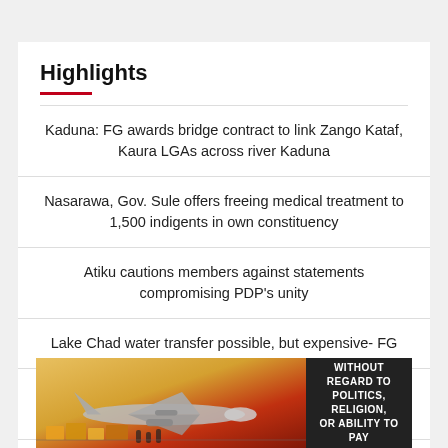Highlights
Kaduna: FG awards bridge contract to link Zango Kataf, Kaura LGAs across river Kaduna
Nasarawa, Gov. Sule offers freeing medical treatment to 1,500 indigents in own constituency
Atiku cautions members against statements compromising PDP's unity
Lake Chad water transfer possible, but expensive- FG
Malnutrition: UNICEF to support Kaduna govt. to strengthen preventive interventions
2023: PDP stakeholders laud Ugwuanyi for zoning governorship
[Figure (photo): Banner advertisement showing an airplane being loaded at an airport with text 'WITHOUT REGARD TO POLITICS, RELIGION, OR ABILITY TO PAY']